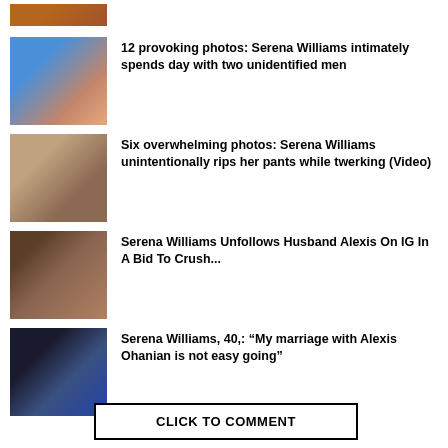[Figure (photo): Partial thumbnail image at top]
[Figure (photo): Serena Williams beach photo with two men]
12 provoking photos: Serena Williams intimately spends day with two unidentified men
[Figure (photo): Serena Williams pants ripping photo]
Six overwhelming photos: Serena Williams unintentionally rips her pants while twerking (Video)
[Figure (photo): Serena Williams selfie photo]
Serena Williams Unfollows Husband Alexis On IG In A Bid To Crush...
[Figure (photo): Serena Williams and Alexis Ohanian couple photo]
Serena Williams, 40,: “My marriage with Alexis Ohanian is not easy going”
CLICK TO COMMENT